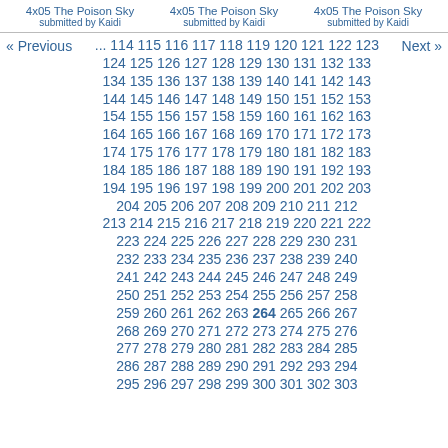4x05 The Poison Sky submitted by Kaidi | 4x05 The Poison Sky submitted by Kaidi | 4x05 The Poison Sky submitted by Kaidi
« Previous  ... 114 115 116 117 118 119 120 121 122 123 124 125 126 127 128 129 130 131 132 133 134 135 136 137 138 139 140 141 142 143 144 145 146 147 148 149 150 151 152 153 154 155 156 157 158 159 160 161 162 163 164 165 166 167 168 169 170 171 172 173 174 175 176 177 178 179 180 181 182 183 184 185 186 187 188 189 190 191 192 193 194 195 196 197 198 199 200 201 202 203 204 205 206 207 208 209 210 211 212 213 214 215 216 217 218 219 220 221 222 223 224 225 226 227 228 229 230 231 232 233 234 235 236 237 238 239 240 241 242 243 244 245 246 247 248 249 250 251 252 253 254 255 256 257 258 259 260 261 262 263 264 265 266 267 268 269 270 271 272 273 274 275 276 277 278 279 280 281 282 283 284 285 286 287 288 289 290 291 292 293 294 295 296 297 298 299 300 301 302 303  Next »